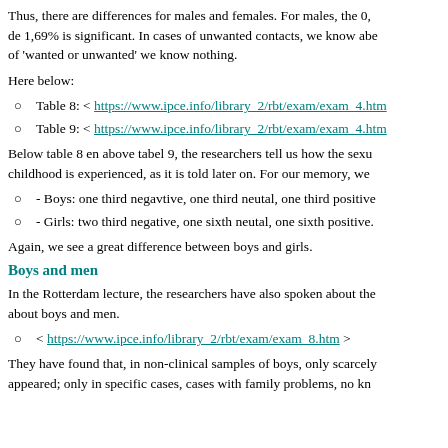Thus, there are differences for males and females. For males, the 0,de 1,69% is significant. In cases of unwanted contacts, we know abe of 'wanted or unwanted' we know nothing.
Here below:
Table 8: < https://www.ipce.info/library_2/rbt/exam/exam_4.htm
Table 9: < https://www.ipce.info/library_2/rbt/exam/exam_4.htm
Below table 8 en above tabel 9, the researchers tell us how the sexua childhood is experienced, as it is told later on. For our memory, we
- Boys: one third negavtive, one third neutal, one third positive
- Girls: two third negative, one sixth neutal, one sixth positive.
Again, we see a great difference between boys and girls.
Boys and men
In the Rotterdam lecture, the researchers have also spoken about the about boys and men.
< https://www.ipce.info/library_2/rbt/exam/exam_8.htm >
They have found that, in non-clinical samples of boys, only scarcely appeared; only in specific cases, cases with family problems, no kn